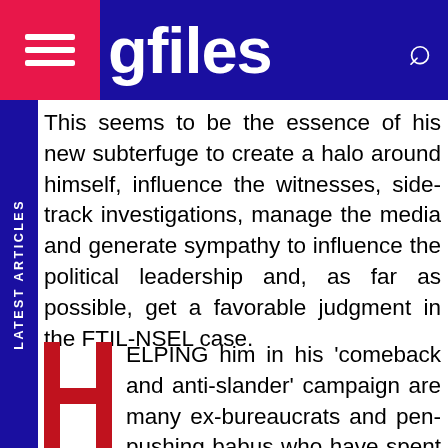gfiles
This seems to be the essence of his new subterfuge to create a halo around himself, influence the witnesses, side-track investigations, manage the media and generate sympathy to influence the political leadership and, as far as possible, get a favorable judgment in the FTIL-NSEL case.
HELPING him in his ‘comeback and anti-slander’ campaign are many ex-bureaucrats and pen-pushing babus who have spent almost their whole life playing hide and seek with files. They are either operating from behind the curtain or have been re-employed post-retirement in a number of his companies